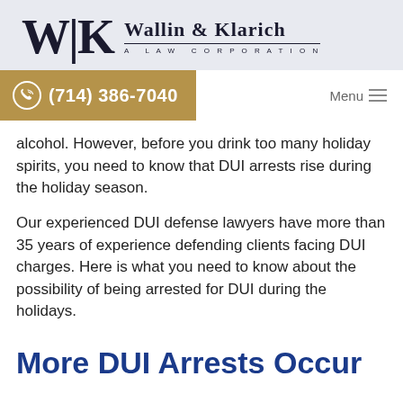[Figure (logo): Wallin & Klarich A Law Corporation logo with WK monogram]
(714) 386-7040
alcohol. However, before you drink too many holiday spirits, you need to know that DUI arrests rise during the holiday season.
Our experienced DUI defense lawyers have more than 35 years of experience defending clients facing DUI charges. Here is what you need to know about the possibility of being arrested for DUI during the holidays.
More DUI Arrests Occur